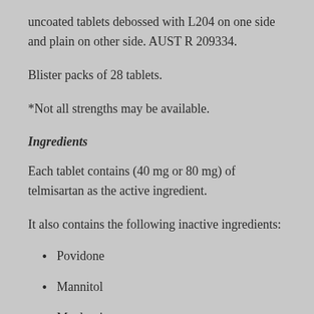uncoated tablets debossed with L204 on one side and plain on other side. AUST R 209334.
Blister packs of 28 tablets.
*Not all strengths may be available.
Ingredients
Each tablet contains (40 mg or 80 mg) of telmisartan as the active ingredient.
It also contains the following inactive ingredients:
Povidone
Mannitol
Meglumine